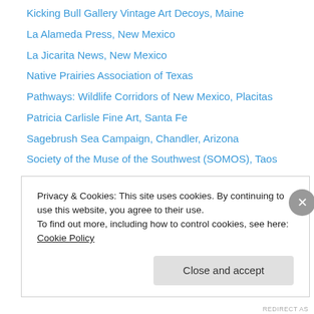Kicking Bull Gallery Vintage Art Decoys, Maine
La Alameda Press, New Mexico
La Jicarita News, New Mexico
Native Prairies Association of Texas
Pathways: Wildlife Corridors of New Mexico, Placitas
Patricia Carlisle Fine Art, Santa Fe
Sagebrush Sea Campaign, Chandler, Arizona
Society of the Muse of the Southwest (SOMOS), Taos
Texas Farmers Union
Texas Wildlife Rescue & Rehabilitation, Kendalia
The French Laundry Restaurant, California
The Texas Tribune
U.S. Forest Service National Grasslands
Privacy & Cookies: This site uses cookies. By continuing to use this website, you agree to their use.
To find out more, including how to control cookies, see here: Cookie Policy
Close and accept